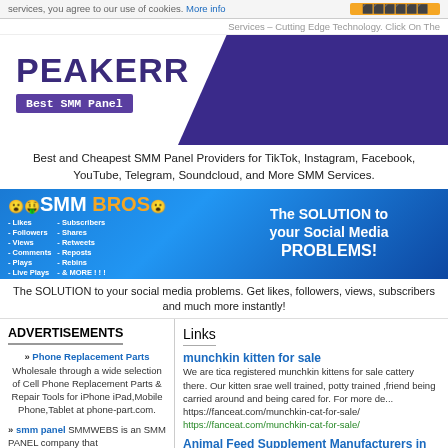services, you agree to our use of cookies. More info
Services – Cutting Edge Technology. Click On The
[Figure (logo): PEAKERR logo with purple text and 'Best SMM Panel' subtitle on purple background, with dark purple diagonal banner on right]
Best and Cheapest SMM Panel Providers for TikTok, Instagram, Facebook, YouTube, Telegram, Soundcloud, and More SMM Services.
[Figure (infographic): SMM BROS banner ad on blue gradient background listing: Likes, Followers, Views, Comments, Plays, Live Plays, Subscribers, Shares, Retweets, Reposts, Rebins, & MORE!!! with text 'The SOLUTION to your Social Media PROBLEMS!']
The SOLUTION to your social media problems. Get likes, followers, views, subscribers and much more instantly!
ADVERTISEMENTS
» Phone Replacement Parts Wholesale through a wide selection of Cell Phone Replacement Parts & Repair Tools for iPhone iPad,Mobile Phone,Tablet at phone-part.com.
» smm panel SMMWEBS is an SMM PANEL company that
Links
munchkin kitten for sale
We are tica registered munchkin kittens for sale cattery there. Our kitten srae well trained, potty trained ,friendly being carried around and being cared for. For more de... https://fanceat.com/munchkin-cat-for-sale/ https://fanceat.com/munchkin-cat-for-sale/
Animal Feed Supplement Manufacturers in